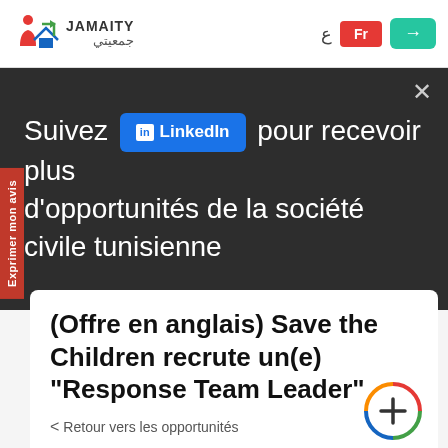JAMAITY جمعيتي — Navigation: ع | Fr | Login
Suivez Jamaity sur LinkedIn pour recevoir plus d'opportunités de la société civile tunisienne
(Offre en anglais) Save the Children recrute un(e) "Response Team Leader"
< Retour vers les opportunités